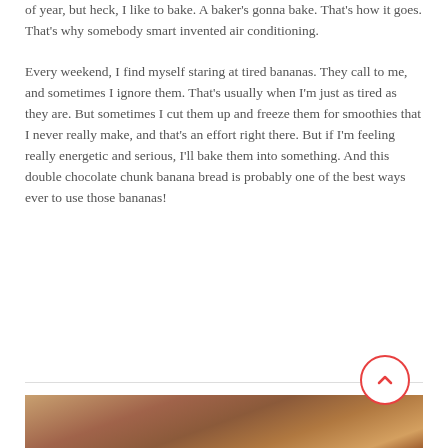of year, but heck, I like to bake. A baker's gonna bake. That's how it goes. That's why somebody smart invented air conditioning.
Every weekend, I find myself staring at tired bananas. They call to me, and sometimes I ignore them. That's usually when I'm just as tired as they are. But sometimes I cut them up and freeze them for smoothies that I never really make, and that's an effort right there. But if I'm feeling really energetic and serious, I'll bake them into something. And this double chocolate chunk banana bread is probably one of the best ways ever to use those bananas!
READ MORE
[Figure (photo): Close-up blurred photo of baked goods, warm brown tones, food photography]